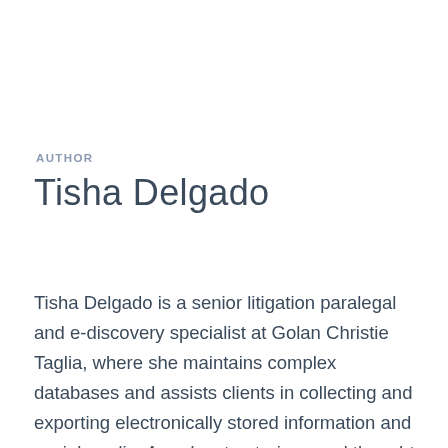AUTHOR
Tisha Delgado
Tisha Delgado is a senior litigation paralegal and e-discovery specialist at Golan Christie Taglia, where she maintains complex databases and assists clients in collecting and exporting electronically stored information and social media. An educator, trainer, and thought